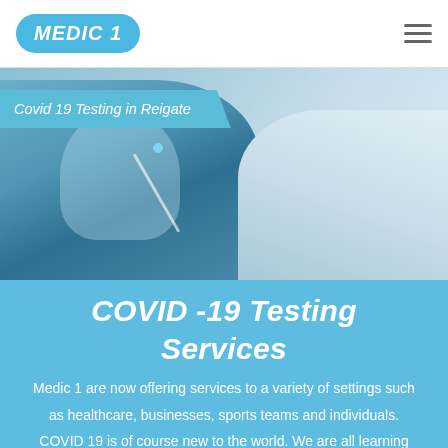[Figure (logo): Medic 1 logo in blue oval]
[Figure (photo): Healthcare worker in PPE (mask, face shield, gloves) administering a COVID-19 nasal swab test to a patient]
Covid 19 Testing in Reigate
COVID -19 Testing Services
Medic 1 are now offering services to a variety of settings such as healthcare, businesses, sports teams and individuals. COVID 19 is of course new to the world. We are all learning how to prevent, detect and